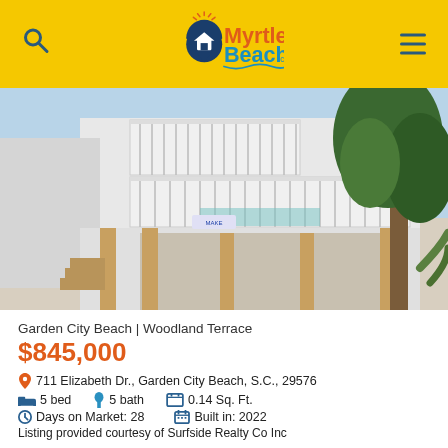MyrtleBeach.com
[Figure (photo): Exterior photo of a white three-story beach house elevated on wooden pilings, with multiple balconies and railings, adjacent to a large tree, at Garden City Beach]
Garden City Beach | Woodland Terrace
$845,000
711 Elizabeth Dr., Garden City Beach, S.C., 29576
5 bed   5 bath   0.14 Sq. Ft.
Days on Market: 28   Built in: 2022
Listing provided courtesy of Surfside Realty Co Inc